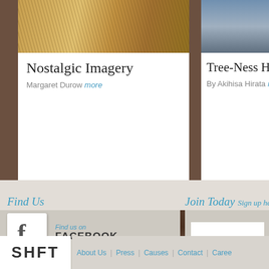[Figure (photo): Photo of dry grass/wheat field - top of left card]
Nostalgic Imagery
Margaret Durow more
[Figure (photo): Photo of trees/building - top of right card, partially visible]
Tree-Ness H
By Akihisa Hirata m
Find Us
Find us on FACEBOOK
Follow us on TWITTER
Join Today  Sign up here!
[Figure (logo): SHFT logo in dark bold text]
About Us | Press | Causes | Contact | Caree